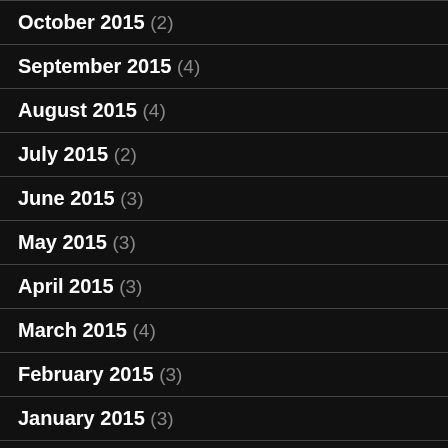October 2015 (2)
September 2015 (4)
August 2015 (4)
July 2015 (2)
June 2015 (3)
May 2015 (3)
April 2015 (3)
March 2015 (4)
February 2015 (3)
January 2015 (3)
December 2014 (1)
November 2014 (3)
October 2014 (3)